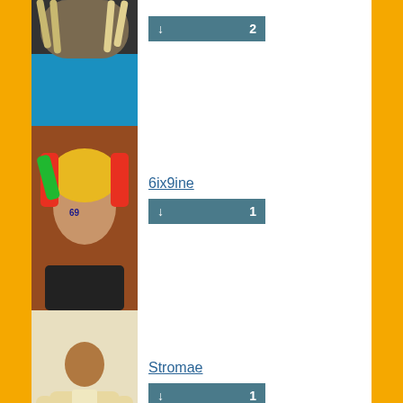[Figure (photo): Partial photo of artist with dreadlocks and blue shirt]
↓ 2
[Figure (photo): 6ix9ine with rainbow hair and face tattoos]
6ix9ine
↓ 1
[Figure (photo): Stromae in beige outfit]
Stromae
↓ 1
[Figure (photo): Latto with blonde hair in checkered outfit]
Latto
↓ 1
[Figure (photo): Gucci Mane partial photo]
Gucci Mane